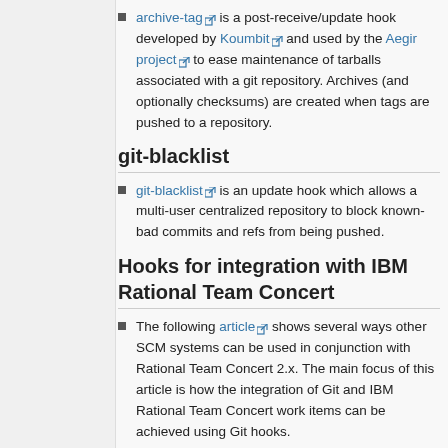archive-tag is a post-receive/update hook developed by Koumbit and used by the Aegir project to ease maintenance of tarballs associated with a git repository. Archives (and optionally checksums) are created when tags are pushed to a repository.
git-blacklist
git-blacklist is an update hook which allows a multi-user centralized repository to block known-bad commits and refs from being pushed.
Hooks for integration with IBM Rational Team Concert
The following article shows several ways other SCM systems can be used in conjunction with Rational Team Concert 2.x. The main focus of this article is how the integration of Git and IBM Rational Team Concert work items can be achieved using Git hooks.